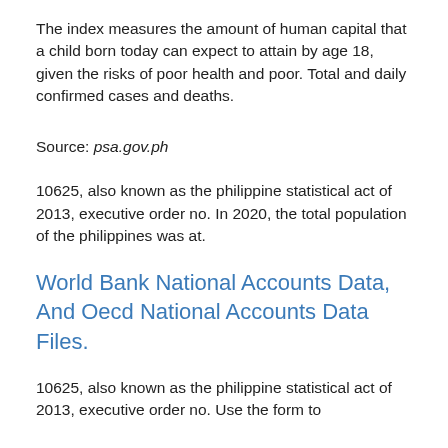The index measures the amount of human capital that a child born today can expect to attain by age 18, given the risks of poor health and poor. Total and daily confirmed cases and deaths.
Source: psa.gov.ph
10625, also known as the philippine statistical act of 2013, executive order no. In 2020, the total population of the philippines was at.
World Bank National Accounts Data, And Oecd National Accounts Data Files.
10625, also known as the philippine statistical act of 2013, executive order no. Use the form to